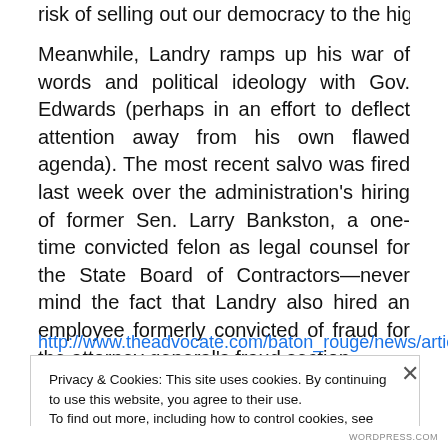risk of selling out our democracy to the highest bidder.
Meanwhile, Landry ramps up his war of words and political ideology with Gov. Edwards (perhaps in an effort to deflect attention away from his own flawed agenda). The most recent salvo was fired last week over the administration's hiring of former Sen. Larry Bankston, a one-time convicted felon as legal counsel for the State Board of Contractors—never mind the fact that Landry also hired an employee formerly convicted of fraud for the attorney general's fraud section.
http://www.theadvocate.com/baton_rouge/news/article_fe5
Privacy & Cookies: This site uses cookies. By continuing to use this website, you agree to their use.
To find out more, including how to control cookies, see here: Cookie Policy
Close and accept